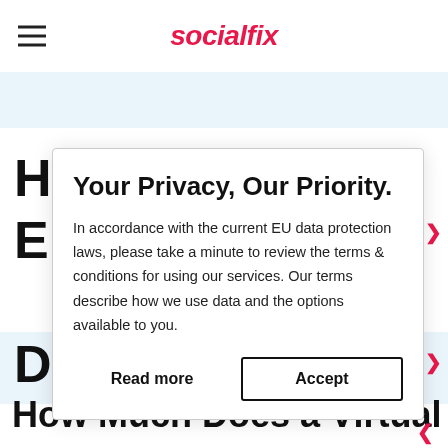socialfix
[Figure (screenshot): Partially visible webpage background with article titles and blue accent bands]
Your Privacy, Our Priority.
In accordance with the current EU data protection laws, please take a minute to review the terms & conditions for using our services. Our terms describe how we use data and the options available to you.
Read more
Accept
How Much Does a Virtual or Hybrid